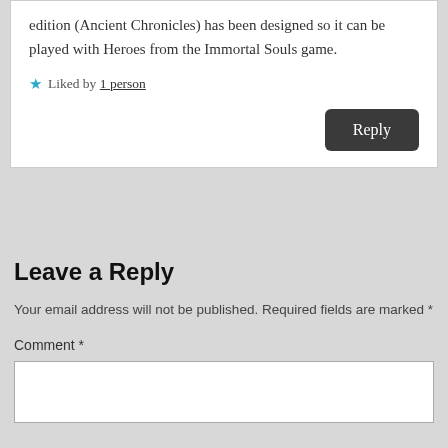edition (Ancient Chronicles) has been designed so it can be played with Heroes from the Immortal Souls game.
Liked by 1 person
Leave a Reply
Your email address will not be published. Required fields are marked *
Comment *